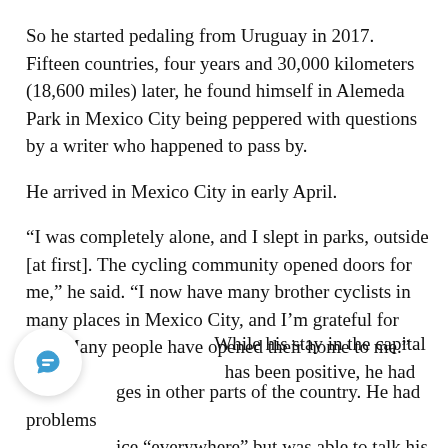So he started pedaling from Uruguay in 2017. Fifteen countries, four years and 30,000 kilometers (18,600 miles) later, he found himself in Alemeda Park in Mexico City being peppered with questions by a writer who happened to pass by.
He arrived in Mexico City in early April.
“I was completely alone, and I slept in parks, outside [at first]. The cycling community opened doors for me,” he said. “I now have many brother cyclists in many places in Mexico City, and I’m grateful for this. Many people have opened their home to me.”
While his stay in the capital has been positive, he had [challen]ges in other parts of the country. He had problems with pol[ice] “everywhere” but was able to talk his way out of trouble. He was threatened with deportation by Mexican [immigration authorities].